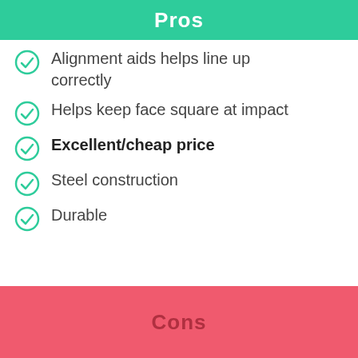Pros
Alignment aids helps line up correctly
Helps keep face square at impact
Excellent/cheap price
Steel construction
Durable
Cons